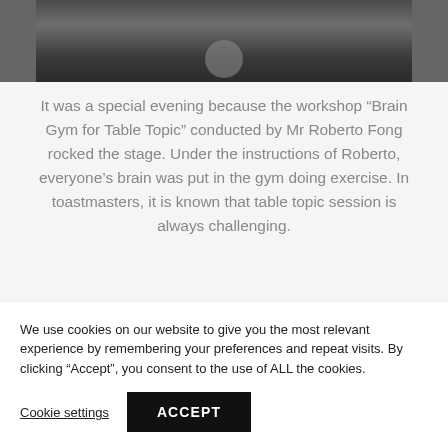[Figure (photo): Partial photo of a person standing on a stage, partially cropped at the top]
It was a special evening because the workshop “Brain Gym for Table Topic” conducted by Mr Roberto Fong rocked the stage. Under the instructions of Roberto, everyone’s brain was put in the gym doing exercise. In toastmasters, it is known that table topic session is always challenging.
We use cookies on our website to give you the most relevant experience by remembering your preferences and repeat visits. By clicking “Accept”, you consent to the use of ALL the cookies.
Cookie settings
ACCEPT